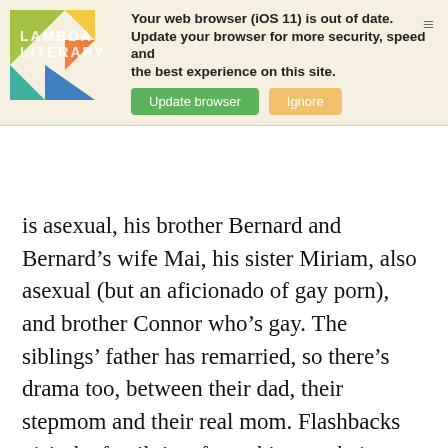[Figure (screenshot): Browser update notification banner with Lambda Literary logo, text 'Your web browser (iOS 11) is out of date. Update your browser for more security, speed and the best experience on this site.' with green 'Update browser' button and orange 'Ignore' button.]
is asexual, his brother Bernard and Bernard's wife Mai, his sister Miriam, also asexual (but an aficionado of gay porn), and brother Connor who's gay. The siblings' father has remarried, so there's drama too, between their dad, their stepmom and their real mom. Flashbacks visit the family's refugee history, their grandparents' experiences, and vignettes of the siblings' lives growing up. Many of these vignettes recall incidents of child abuse: beatings, verbal and sexual abuse, and threats from adults who were